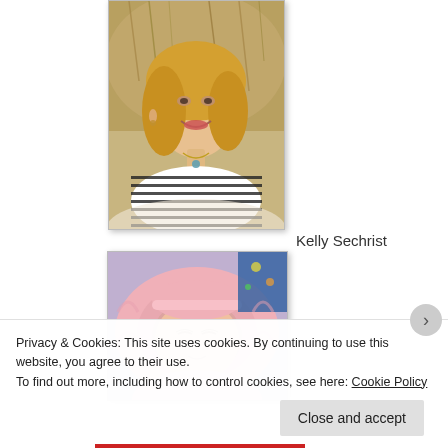[Figure (photo): Portrait photo of a blonde woman smiling at the beach, wearing a striped top and necklace]
Kelly Sechrist
[Figure (photo): Photo of a sleeping newborn baby wearing a pink outfit, lying in a baby support pillow]
Privacy & Cookies: This site uses cookies. By continuing to use this website, you agree to their use.
To find out more, including how to control cookies, see here: Cookie Policy
Close and accept